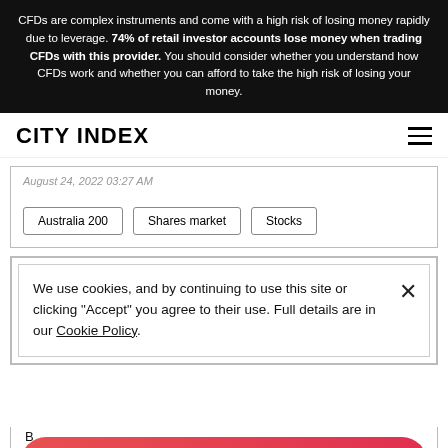CFDs are complex instruments and come with a high risk of losing money rapidly due to leverage. 74% of retail investor accounts lose money when trading CFDs with this provider. You should consider whether you understand how CFDs work and whether you can afford to take the high risk of losing your money.
CITY INDEX
August 24, 2022 03:27 AM
Australia 200
Shares market
Stocks
We use cookies, and by continuing to use this site or clicking "Accept" you agree to their use. Full details are in our Cookie Policy.
By ... August ...
Open account